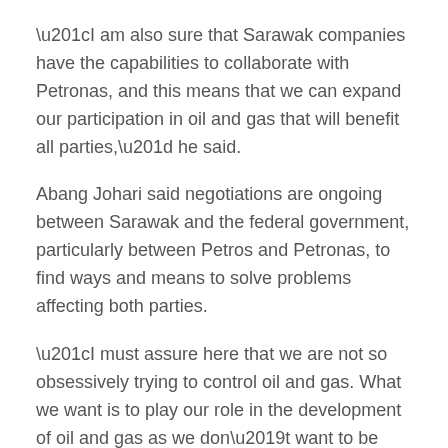“I am also sure that Sarawak companies have the capabilities to collaborate with Petronas, and this means that we can expand our participation in oil and gas that will benefit all parties,” he said.
Abang Johari said negotiations are ongoing between Sarawak and the federal government, particularly between Petros and Petronas, to find ways and means to solve problems affecting both parties.
“I must assure here that we are not so obsessively trying to control oil and gas. What we want is to play our role in the development of oil and gas as we don’t want to be bystanders looking at others,” he said, adding that Sarawak can play its role and it needs some funds for road and infrastructure development.
“The rural people want to have more roads and other infrastructure development...